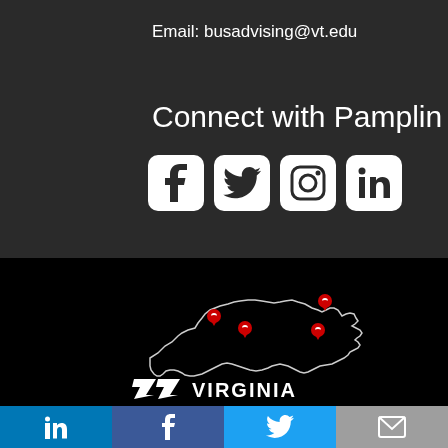Email: busadvising@vt.edu
Connect with Pamplin
[Figure (illustration): Four social media icon boxes: Facebook, Twitter, Instagram, LinkedIn]
[Figure (map): Outline map of Virginia in white on black background with red location pin markers at multiple cities]
[Figure (logo): VT Virginia Tech logo in white]
[Figure (infographic): Bottom social sharing bar with four colored sections: LinkedIn (blue), Facebook (dark blue), Twitter (light blue), Email (gray)]